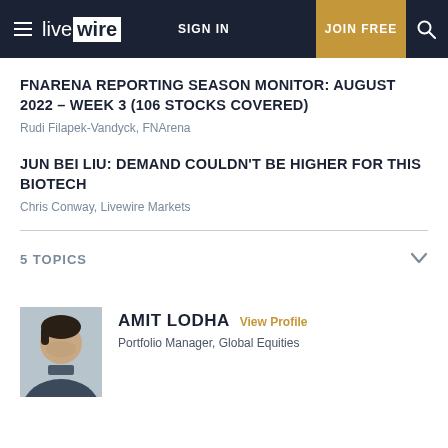live wire | SIGN IN | JOIN FREE
FNARENA REPORTING SEASON MONITOR: AUGUST 2022 – WEEK 3 (106 STOCKS COVERED)
Rudi Filapek-Vandyck, FNArena
JUN BEI LIU: DEMAND COULDN'T BE HIGHER FOR THIS BIOTECH
Chris Conway, Livewire Markets
5 TOPICS
AMIT LODHA View Profile
Portfolio Manager, Global Equities